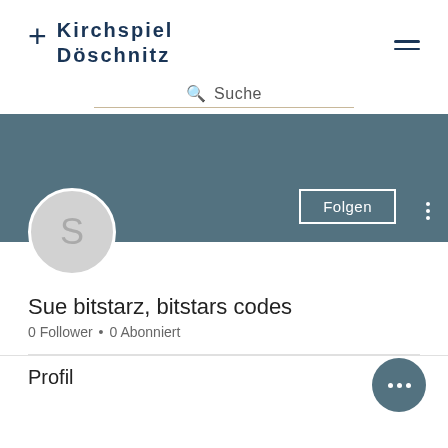Kirchspiel Döschnitz
Suche
[Figure (screenshot): User profile banner with teal/slate background, Folgen button and three-dot menu]
Sue bitstarz, bitstars codes
0 Follower • 0 Abonniert
Profil